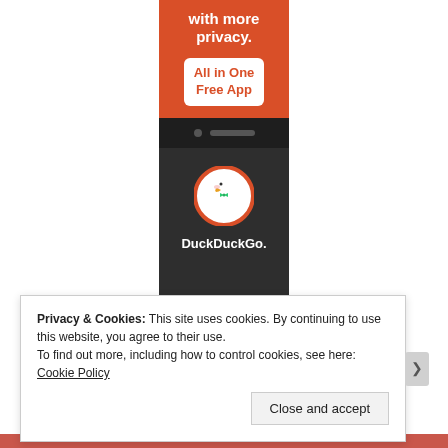[Figure (illustration): DuckDuckGo app advertisement banner. Orange background at top with white bold text 'with more privacy.' and a white button with orange text 'All in One Free App'. Below is a dark phone graphic showing the DuckDuckGo duck logo (white circle with duck wearing green bowtie) and text 'DuckDuckGo.' on a dark/black background.]
Privacy & Cookies: This site uses cookies. By continuing to use this website, you agree to their use.
To find out more, including how to control cookies, see here: Cookie Policy
Close and accept